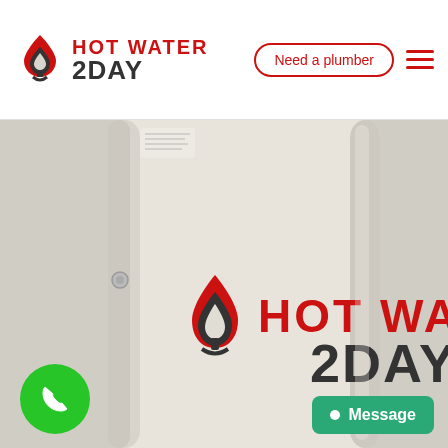Hot Water 2Day — Need a plumber
[Figure (photo): A large white/cream cylindrical hot water storage tank with the Hot Water 2DAY logo printed on its surface. The tank fills almost the entire lower portion of the page. A phone call button (green circle) is visible bottom-left and a green Message button is at bottom-right.]
[Figure (logo): Hot Water 2DAY logo: red and dark grey droplet/leaf icon with red HOT WATER text and dark 2DAY text]